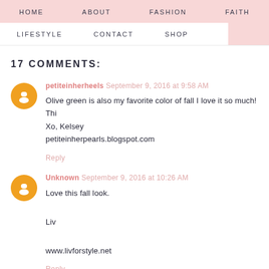HOME  ABOUT  FASHION  FAITH
LIFESTYLE  CONTACT  SHOP
17 COMMENTS:
petiteinherheels  September 9, 2016 at 9:58 AM
Olive green is also my favorite color of fall I love it so much! Thi...
Xo, Kelsey
petiteinherpearls.blogspot.com
Reply
Unknown  September 9, 2016 at 10:26 AM
Love this fall look.

Liv

www.livforstyle.net
Reply